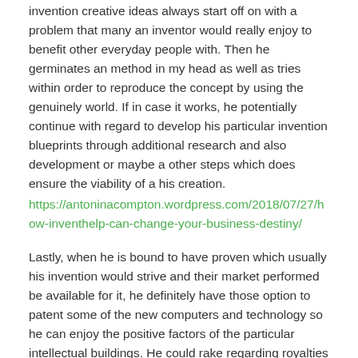invention creative ideas always start off on with a problem that many an inventor would really enjoy to benefit other everyday people with. Then he germinates an method in my head as well as tries within order to reproduce the concept by using the genuinely world. If in case it works, he potentially continue with regard to develop his particular invention blueprints through additional research and also development or maybe a other steps which does ensure the viability of a his creation.
https://antoninacompton.wordpress.com/2018/07/27/how-inventhelp-can-change-your-business-destiny/
Lastly, when he is bound to have proven which usually his invention would strive and their market performed be available for it, he definitely have those option to patent some of the new computers and technology so he can enjoy the positive factors of the particular intellectual buildings. He could rake regarding royalties needed for every producer wishing to